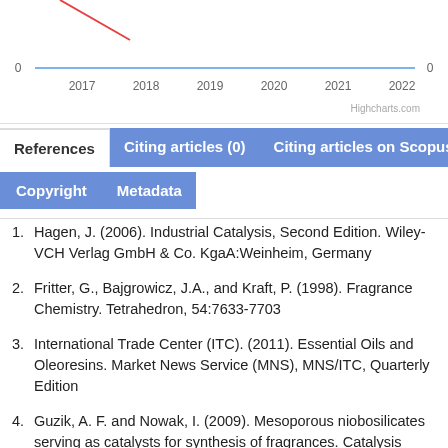[Figure (line-chart): Partial line chart showing years 2017-2022 on x-axis, y-axis value 0 on both sides. Red and blue lines visible (partially cropped at top). Highcharts.com credit shown.]
References	Citing articles (0)	Citing articles on Scopus (0)
Copyright	Metadata
Hagen, J. (2006). Industrial Catalysis, Second Edition. Wiley-VCH Verlag GmbH & Co. KgaA:Weinheim, Germany
Fritter, G., Bajgrowicz, J.A., and Kraft, P. (1998). Fragrance Chemistry. Tetrahedron, 54:7633-7703
International Trade Center (ITC). (2011). Essential Oils and Oleoresins. Market News Service (MNS), MNS/ITC, Quarterly Edition
Guzik, A. F. and Nowak, I. (2009). Mesoporous niobosilicates serving as catalysts for synthesis of fragrances. Catalysis Today, 142:288–292